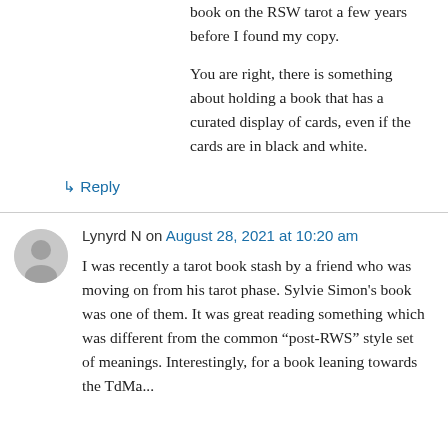book on the RSW tarot a few years before I found my copy.

You are right, there is something about holding a book that has a curated display of cards, even if the cards are in black and white.
↳ Reply
Lynyrd N on August 28, 2021 at 10:20 am
I was recently a tarot book stash by a friend who was moving on from his tarot phase. Sylvie Simon's book was one of them. It was great reading something which was different from the common “post-RWS” style set of meanings. Interestingly, for a book leaning towards the TdMa...